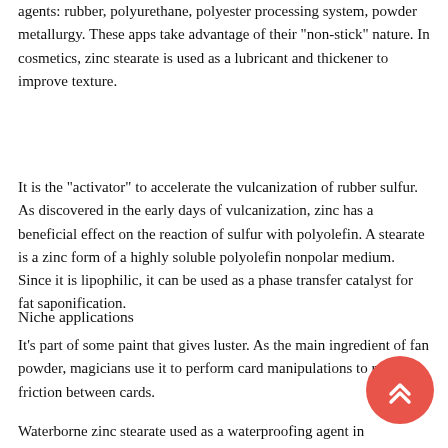agents: rubber, polyurethane, polyester processing system, powder metallurgy. These apps take advantage of their "non-stick" nature. In cosmetics, zinc stearate is used as a lubricant and thickener to improve texture.
It is the "activator" to accelerate the vulcanization of rubber sulfur. As discovered in the early days of vulcanization, zinc has a beneficial effect on the reaction of sulfur with polyolefin. A stearate is a zinc form of a highly soluble polyolefin nonpolar medium. Since it is lipophilic, it can be used as a phase transfer catalyst for fat saponification.
Niche applications
It's part of some paint that gives luster. As the main ingredient of fan powder, magicians use it to perform card manipulations to reduce friction between cards.
Waterborne zinc stearate used as a waterproofing agent in